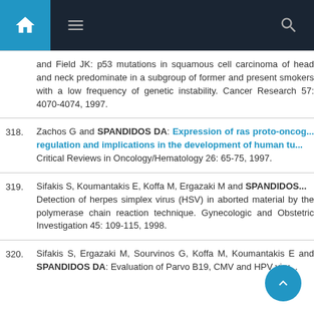Navigation header with home, menu, and search icons
and Field JK: p53 mutations in squamous cell carcinoma of head and neck predominate in a subgroup of former and present smokers with a low frequency of genetic instability. Cancer Research 57: 4070-4074, 1997.
318. Zachos G and SPANDIDOS DA: Expression of ras proto-oncogenes: regulation and implications in the development of human tu... Critical Reviews in Oncology/Hematology 26: 65-75, 1997.
319. Sifakis S, Koumantakis E, Koffa M, Ergazaki M and SPANDIDOS... Detection of herpes simplex virus (HSV) in aborted material by the polymerase chain reaction technique. Gynecologic and Obstetric Investigation 45: 109-115, 1998.
320. Sifakis S, Ergazaki M, Sourvinos G, Koffa M, Koumantakis E and SPANDIDOS DA: Evaluation of Parvo B19, CMV and HPV viru...